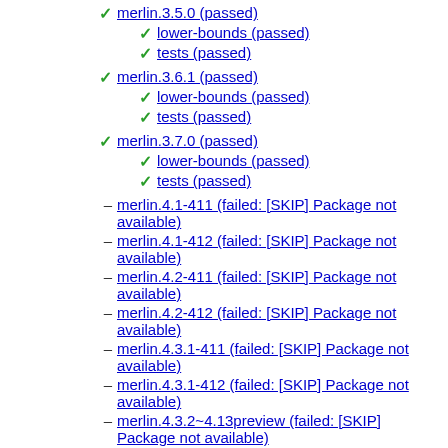merlin.3.5.0 (passed)
lower-bounds (passed)
tests (passed)
merlin.3.6.1 (passed)
lower-bounds (passed)
tests (passed)
merlin.3.7.0 (passed)
lower-bounds (passed)
tests (passed)
merlin.4.1-411 (failed: [SKIP] Package not available)
merlin.4.1-412 (failed: [SKIP] Package not available)
merlin.4.2-411 (failed: [SKIP] Package not available)
merlin.4.2-412 (failed: [SKIP] Package not available)
merlin.4.3.1-411 (failed: [SKIP] Package not available)
merlin.4.3.1-412 (failed: [SKIP] Package not available)
merlin.4.3.2~4.13preview (failed: [SKIP] Package not available)
merlin.4.4-411 (failed: [SKIP] Package not available)